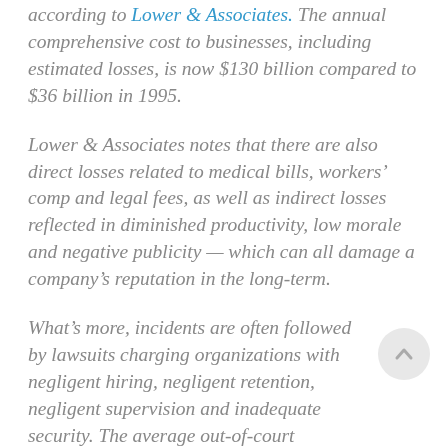according to Lower & Associates. The annual comprehensive cost to businesses, including estimated losses, is now $130 billion compared to $36 billion in 1995.
Lower & Associates notes that there are also direct losses related to medical bills, workers' comp and legal fees, as well as indirect losses reflected in diminished productivity, low morale and negative publicity — which can all damage a company's reputation in the long-term.
What's more, incidents are often followed by lawsuits charging organizations with negligent hiring, negligent retention, negligent supervision and inadequate security. The average out-of-court settlement is around $500,000 and the average jury award is $3 million. Lower &